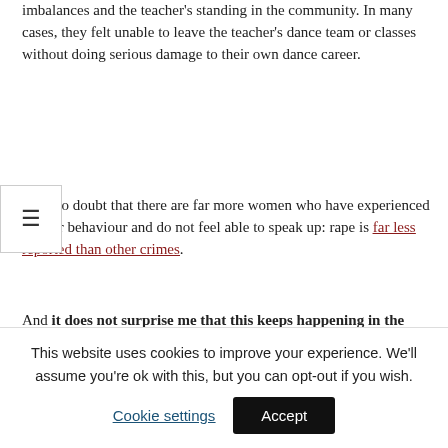imbalances and the teacher's standing in the community. In many cases, they felt unable to leave the teacher's dance team or classes without doing serious damage to their own dance career.
…have no doubt that there are far more women who have experienced similar behaviour and do not feel able to speak up: rape is far less reported than other crimes.
And it does not surprise me that this keeps happening in the partner dance scene, because we have a toxic culture that enables rape and abuse. We do not treat women and non-binary people as
This website uses cookies to improve your experience. We'll assume you're ok with this, but you can opt-out if you wish.
Cookie settings | Accept